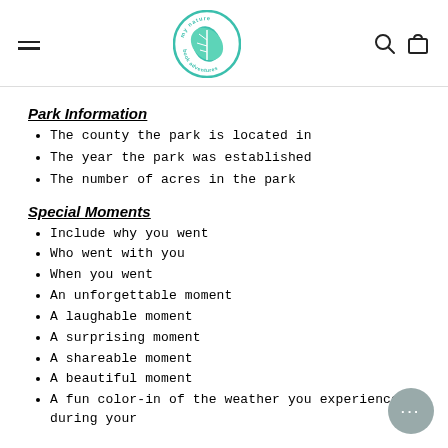my nature book adventures — logo with navigation icons
Park Information
The county the park is located in
The year the park was established
The number of acres in the park
Special Moments
Include why you went
Who went with you
When you went
An unforgettable moment
A laughable moment
A surprising moment
A shareable moment
A beautiful moment
A fun color-in of the weather you experienced during your